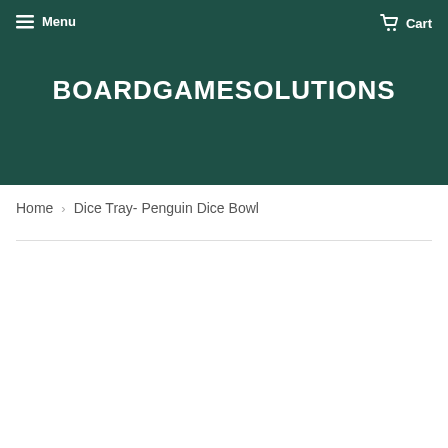Menu  Cart
BOARDGAMESOLUTIONS
Home › Dice Tray- Penguin Dice Bowl